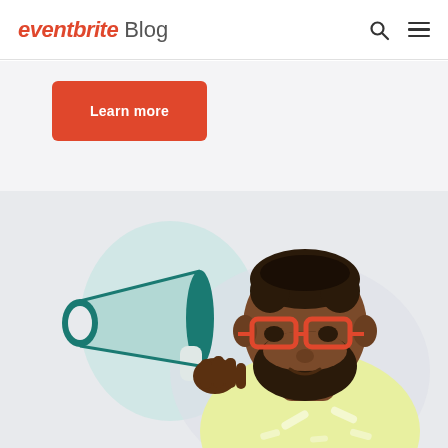eventbrite Blog
Learn more
[Figure (illustration): Flat illustration of a bearded Black man with red-framed glasses holding a megaphone/bullhorn up to his mouth, wearing a yellow t-shirt. The background has a light mint/teal color with white decorative dashes. The illustration style is flat vector art.]